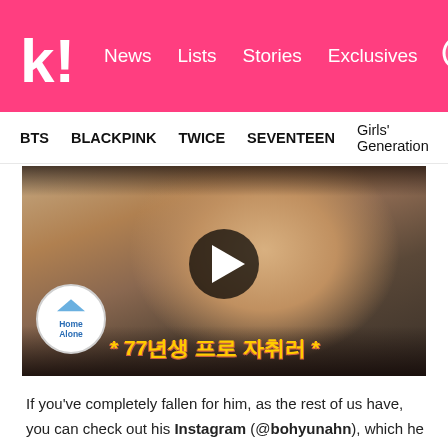k! News Lists Stories Exclusives
BTS   BLACKPINK   TWICE   SEVENTEEN   Girls' Generation
[Figure (screenshot): Video thumbnail showing a Korean man in a tan jacket from the TV show 'Home Alone', with a play button overlay and Korean text overlay reading '77년생 프로 자취러']
If you've completely fallen for him, as the rest of us have, you can check out his Instagram (@bohyunahn), which he frequently updates. There, you can also see him for his true self!